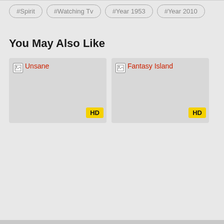#Spirit
#Watching Tv
#Year 1953
#Year 2010
You May Also Like
[Figure (screenshot): Movie thumbnail placeholder for 'Unsane' with HD badge]
[Figure (screenshot): Movie thumbnail placeholder for 'Fantasy Island' with HD badge]